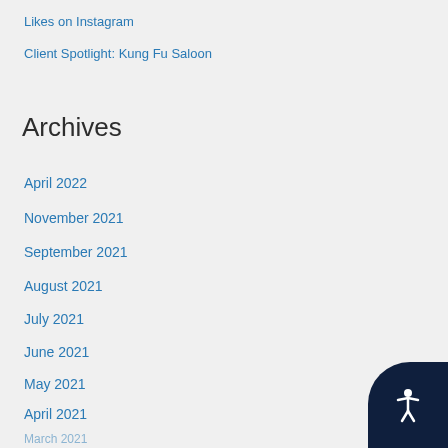Likes on Instagram
Client Spotlight: Kung Fu Saloon
Archives
April 2022
November 2021
September 2021
August 2021
July 2021
June 2021
May 2021
April 2021
March 2021
February 2021